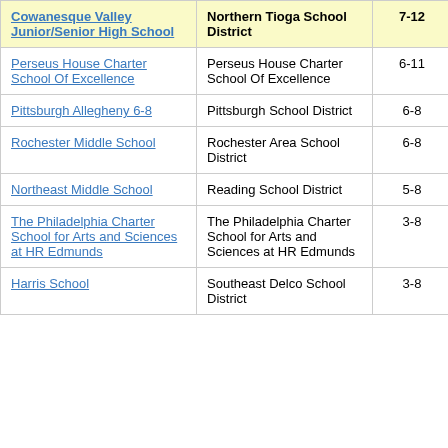| School | District | Grades | Value |
| --- | --- | --- | --- |
| Cowanesque Valley Junior/Senior High School | Northern Tioga School District | 7-12 | -0. |
| Perseus House Charter School Of Excellence | Perseus House Charter School Of Excellence | 6-11 | -4. |
| Pittsburgh Allegheny 6-8 | Pittsburgh School District | 6-8 | -3. |
| Rochester Middle School | Rochester Area School District | 6-8 | -1. |
| Northeast Middle School | Reading School District | 5-8 | 0. |
| The Philadelphia Charter School for Arts and Sciences at HR Edmunds | The Philadelphia Charter School for Arts and Sciences at HR Edmunds | 3-8 | 1. |
| Harris School | Southeast Delco School District | 3-8 | 2 |